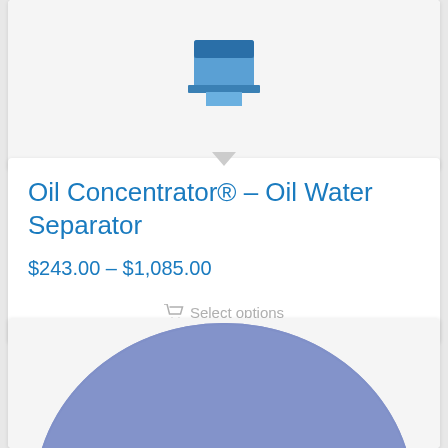[Figure (photo): Top portion of a product card showing a blue packaged product image (partially visible at top)]
Oil Concentrator® – Oil Water Separator
$243.00 – $1,085.00
Select options
[Figure (photo): Bottom product card showing a large circular blue/periwinkle colored industrial disc or pad product with a dark horizontal stripe, partially cropped]